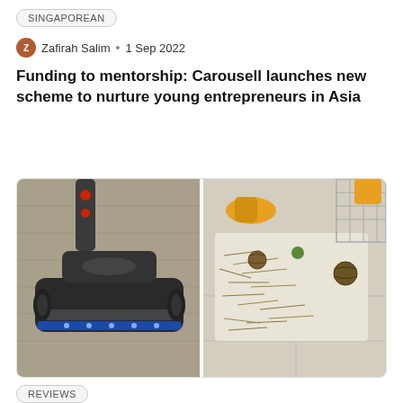SINGAPOREAN
Zafirah Salim • 1 Sep 2022
Funding to mentorship: Carousell launches new scheme to nurture young entrepreneurs in Asia
[Figure (photo): Two-panel composite photo: left panel shows a vacuum cleaner head (dark grey/blue with LED lights) on a carpet; right panel shows a messy floor with hay/straw scattered around a pet cage area with yellow objects and a wicker ball.]
REVIEWS